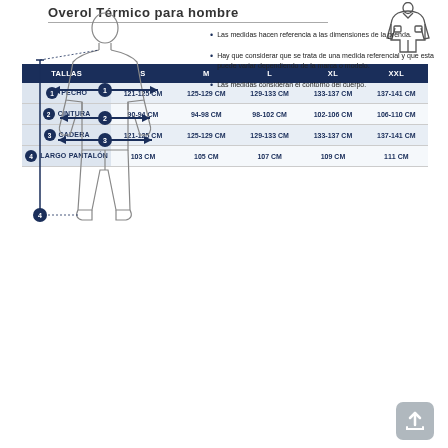Overol Térmico para hombre
[Figure (illustration): Line drawing of a thermal overall/coverall garment]
| TALLAS | S | M | L | XL | XXL |
| --- | --- | --- | --- | --- | --- |
| 1 PECHO | 121-125 CM | 125-129 CM | 129-133 CM | 133-137 CM | 137-141 CM |
| 2 CINTURA | 90-94 CM | 94-98 CM | 98-102 CM | 102-106 CM | 106-110 CM |
| 3 CADERA | 121-125 CM | 125-129 CM | 129-133 CM | 133-137 CM | 137-141 CM |
| 4 LARGO PANTALÓN | 103 CM | 105 CM | 107 CM | 109 CM | 111 CM |
[Figure (illustration): Outline silhouette of a standing male figure with numbered measurement indicators (1=chest, 2=waist, 3=hip, 4=leg length) shown as blue horizontal arrows]
Las medidas hacen referencia a las dimensiones de la prenda.
Hay que considerar que se trata de una medida referencial y que esta puede variar dependiendo de la marca o modelo.
Las medidas consideran el contorno del cuerpo.